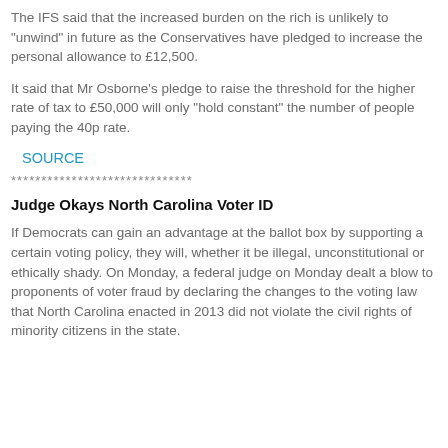The IFS said that the increased burden on the rich is unlikely to "unwind" in future as the Conservatives have pledged to increase the personal allowance to £12,500.
It said that Mr Osborne's pledge to raise the threshold for the higher rate of tax to £50,000 will only "hold constant" the number of people paying the 40p rate.
SOURCE
******************************
Judge Okays North Carolina Voter ID
If Democrats can gain an advantage at the ballot box by supporting a certain voting policy, they will, whether it be illegal, unconstitutional or ethically shady. On Monday, a federal judge on Monday dealt a blow to proponents of voter fraud by declaring the changes to the voting law that North Carolina enacted in 2013 did not violate the civil rights of minority citizens in the state.